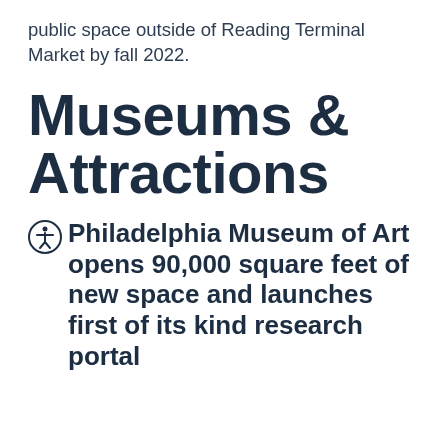public space outside of Reading Terminal Market by fall 2022.
Museums & Attractions
Philadelphia Museum of Art opens 90,000 square feet of new space and launches first of its kind research portal